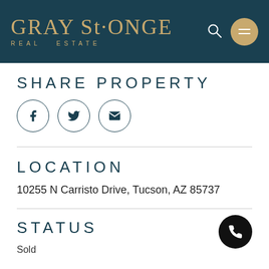[Figure (logo): Gray St. Onge Real Estate logo on dark teal header background with gold/tan colored text, search icon, and hamburger menu circle button]
SHARE PROPERTY
[Figure (infographic): Three circular social share buttons: Facebook (f), Twitter (bird), Email (envelope), outlined circles with dark teal icons]
LOCATION
10255 N Carristo Drive, Tucson, AZ 85737
STATUS
Sold